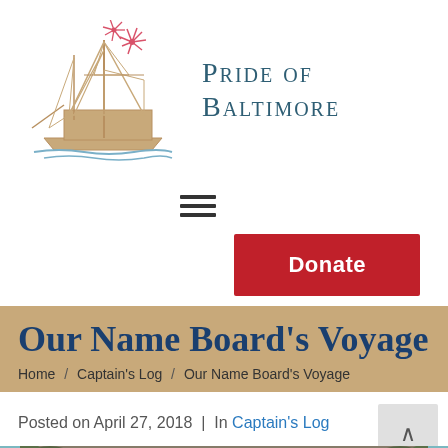[Figure (logo): Pride of Baltimore sailing ship logo with red fireworks/flowers above, tan/beige colored tall ship on water, next to the text 'Pride of Baltimore' in small-caps serif font]
[Figure (other): Hamburger menu icon — three horizontal dark bars]
[Figure (other): Red Donate button]
Our Name Board's Voyage
Home / Captain's Log / Our Name Board's Voyage
Posted on April 27, 2018  |  In Captain's Log
[Figure (photo): Partial photo showing a tropical or outdoor scene with stone wall, teal/blue canopy or tent, and foliage]